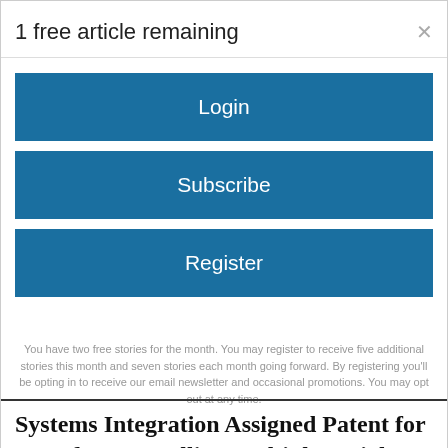1 free article remaining
Login
Subscribe
Register
You have two free stories for the month. You may register to receive five additional stories this month and seven stories each month going forward. By registering you'll be opting in to receive our email newsletter and occasional promotions. You may opt out at any time.
Systems Integration Assigned Patent for Core for Controlling Multiple Serial Peripheral Interfaces